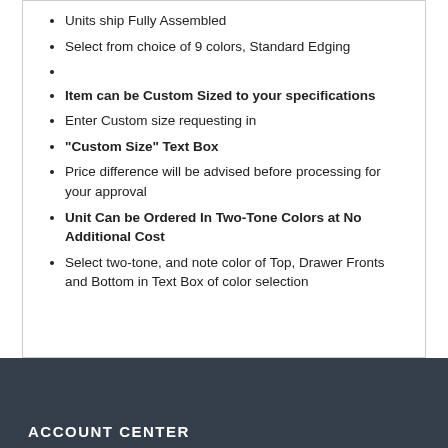Units ship Fully Assembled
Select from choice of 9 colors, Standard Edging
Item can be Custom Sized to your specifications
Enter Custom size requesting in
"Custom Size" Text Box
Price difference will be advised before processing for your approval
Unit Can be Ordered In Two-Tone Colors at No Additional Cost
Select two-tone, and note color of Top, Drawer Fronts and Bottom in Text Box of color selection
ACCOUNT CENTER